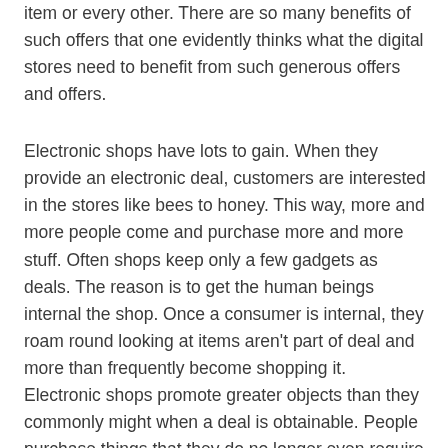item or every other. There are so many benefits of such offers that one evidently thinks what the digital stores need to benefit from such generous offers and offers.
Electronic shops have lots to gain. When they provide an electronic deal, customers are interested in the stores like bees to honey. This way, more and more people come and purchase more and more stuff. Often shops keep only a few gadgets as deals. The reason is to get the human beings internal the shop. Once a consumer is internal, they roam round looking at items aren't part of deal and more than frequently become shopping it. Electronic shops promote greater objects than they commonly might when a deal is obtainable. People purchase things that they do no longer even require inside the first area. Also, human beings do no longer generally pay an awful lot attention to the emblem of the items on a deal. Once they see that a hair dryer is being provided in a address a hair curler they might hurry to make a buy no longer realizing that both or one of the items might be of an inferior logo. This manner, stores promote brands